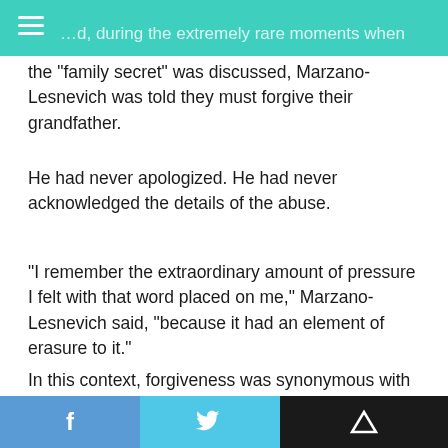…and, during the extremely rare moments when the "family secret" was discussed, Marzano-Lesnevich was told they must forgive their grandfather.
He had never apologized. He had never acknowledged the details of the abuse.
"I remember the extraordinary amount of pressure I felt with that word placed on me," Marzano-Lesnevich said, "because it had an element of erasure to it."
In this context, forgiveness was synonymous with letting it go, moving on, erasing.
"As a child, that was quite hard because I knew … I carried this," Marzano-Lesnevich said. "I still carry [t]… [n]thing I can do that's going to
f  t  [up arrow]